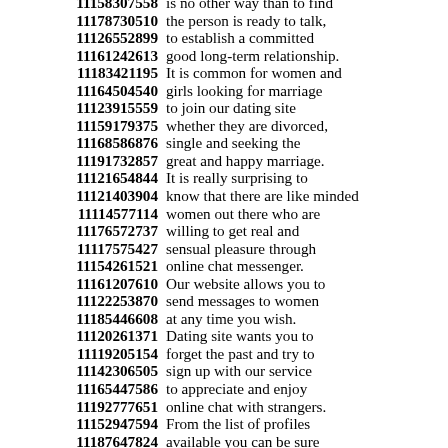11158307558 is no other way than to find
11178730510 the person is ready to talk,
11126552899 to establish a committed
11161242613 good long-term relationship.
11183421195 It is common for women and
11164504540 girls looking for marriage
11123915559 to join our dating site
11159179375 whether they are divorced,
11168586876 single and seeking the
11191732857 great and happy marriage.
11121654844 It is really surprising to
11121403904 know that there are like minded
11114577114 women out there who are
11176572737 willing to get real and
11117575427 sensual pleasure through
11154261521 online chat messenger.
11161207610 Our website allows you to
11122253870 send messages to women
11185446608 at any time you wish.
11120261371 Dating site wants you to
11119205154 forget the past and try to
11142306505 sign up with our service
11165447586 to appreciate and enjoy
11192777651 online chat with strangers.
11152947594 From the list of profiles
11187647824 available you can be sure